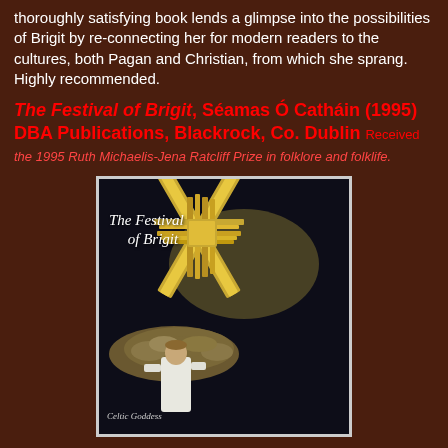thoroughly satisfying book lends a glimpse into the possibilities of Brigit by re-connecting her for modern readers to the cultures, both Pagan and Christian, from which she sprang. Highly recommended.
The Festival of Brigit, Séamas Ó Catháin (1995) DBA Publications, Blackrock, Co. Dublin Received the 1995 Ruth Michaelis-Jena Ratcliff Prize in folklore and folklife.
[Figure (photo): Book cover of 'The Festival of Brigit' showing a Brigid's cross made of straw/reeds over a pile of stones, with a young person dressed in white below. Text reads 'Celtic Goddess' at the bottom.]